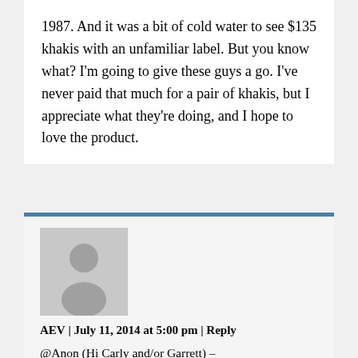1987. And it was a bit of cold water to see $135 khakis with an unfamiliar label. But you know what? I'm going to give these guys a go. I've never paid that much for a pair of khakis, but I appreciate what they're doing, and I hope to love the product.
AEV | July 11, 2014 at 5:00 pm | Reply
@Anon (Hi Carly and/or Garrett) –

You got me: calling Carly out on GOMI is